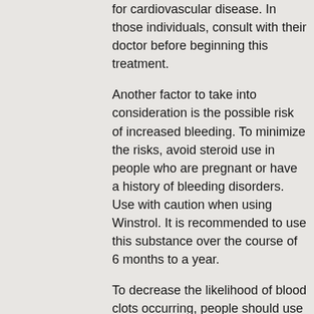for cardiovascular disease. In those individuals, consult with their doctor before beginning this treatment.
Another factor to take into consideration is the possible risk of increased bleeding. To minimize the risks, avoid steroid use in people who are pregnant or have a history of bleeding disorders. Use with caution when using Winstrol. It is recommended to use this substance over the course of 6 months to a year.
To decrease the likelihood of blood clots occurring, people should use a blood thinner. The more frequently the blood is used, the more frequent should your blood thinner be used. Do not stop taking medication until you can safely stop taking Winstrol.
Related Article:
https://www.bethelcundridge.com/profile/alph...